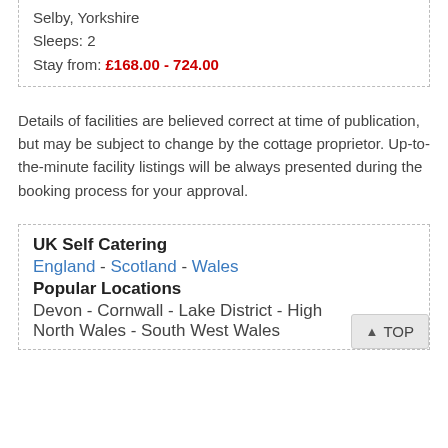Selby, Yorkshire
Sleeps: 2
Stay from: £168.00 - 724.00
Details of facilities are believed correct at time of publication, but may be subject to change by the cottage proprietor. Up-to-the-minute facility listings will be always presented during the booking process for your approval.
UK Self Catering
England - Scotland - Wales
Popular Locations
Devon - Cornwall - Lake District - High...
North Wales - South West Wales